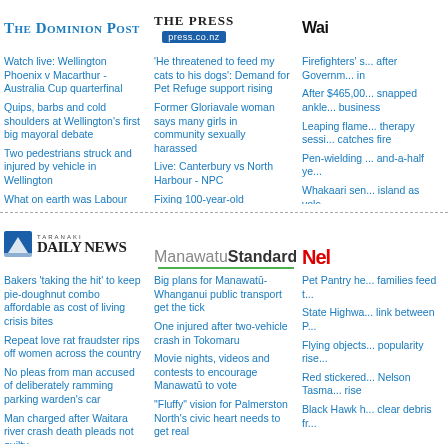The Dominion Post
THE PRESS press.co.nz
Wai
Watch live: Wellington Phoenix v Macarthur - Australia Cup quarterfinal
Quips, barbs and cold shoulders at Wellington’s first big mayoral debate
Two pedestrians struck and injured by vehicle in Wellington
What on earth was Labour thinking with its ill-advised ‘KiwiSaver tax’?
Firefighters’ strike action called off after Government minister brought in
‘He threatened to feed my cats to his dogs’: Demand for Pet Refuge support rising
Former Gloriavale woman says many girls in community sexually harassed
Live: Canterbury vs North Harbour - NPC
Fixing 100-year-old grandstand will ‘financially cripple’ racecourse
At least 14 motorists filled petrol cars with diesel after bowser botch-up
Firefighters’ s... after Governm... in
After $465,00... snapped ankle... business
Leaping flame... therapy sessi... catches fire
Pen-wielding ... and-a-half ye...
Whakaari sen... island as volc...
Taranaki Daily News
ManawatuStandard
Nel
Bakers ‘taking the hit’ to keep pie-doughnut combo affordable as cost of living crisis bites
Repeat love rat fraudster rips off women across the country
No pleas from man accused of deliberately ramming parking warden’s car
Man charged after Waitara river crash death pleads not guilty
The New Plymouth kid who built an
Big plans for Manawatū-Whanganui public transport get the tick
One injured after two-vehicle crash in Tokomaru
Movie nights, videos and contests to encourage Manawatū to vote
“Fluffy” vision for Palmerston North’s civic heart needs to get real
Manawatū Triathlon League goes global with Australian partnership
Pet Pantry he... families feed t...
State Highwa... link between P...
Flying objects... popularity rise...
Red stickered... Nelson Tasma... rise
Black Hawk h... clear debris fr...